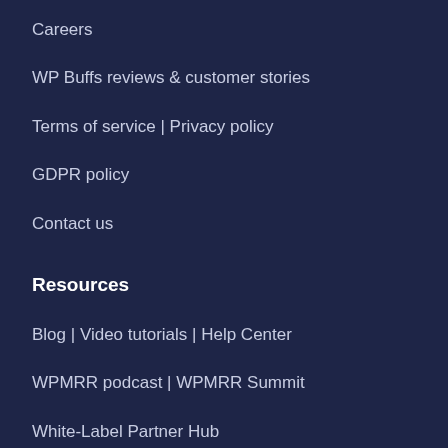Careers
WP Buffs reviews & customer stories
Terms of service | Privacy policy
GDPR policy
Contact us
Resources
Blog | Video tutorials | Help Center
WPMRR podcast | WPMRR Summit
White-Label Partner Hub
Free eBooks